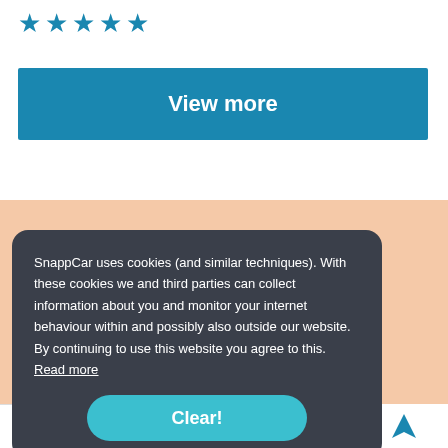[Figure (other): Five blue star rating icons]
View more
SnappCar uses cookies (and similar techniques). With these cookies we and third parties can collect information about you and monitor your internet behaviour within and possibly also outside our website. By continuing to use this website you agree to this. Read more
Clear!
street name